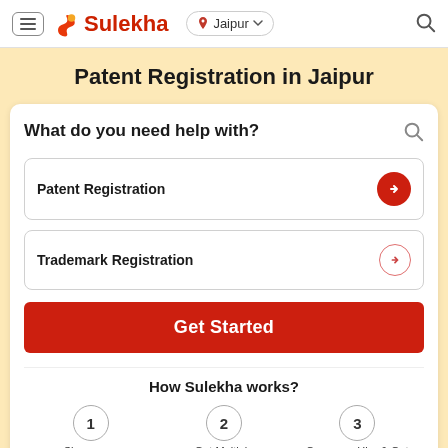Sulekha — Jaipur
Patent Registration in Jaipur
What do you need help with?
Patent Registration
Trademark Registration
Get Started
How Sulekha works?
1 Share your
2 Get Multiple
3 Compare, Hire & Get